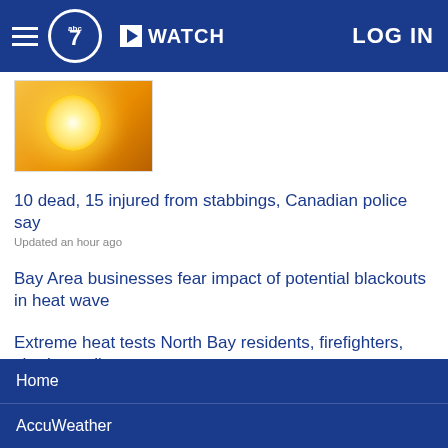ABC7 | WATCH | LOG IN
[Figure (photo): Thumbnail image showing a bright sun with golden/orange sky background]
10 dead, 15 injured from stabbings, Canadian police say
Updated an hour ago
Bay Area businesses fear impact of potential blackouts in heat wave
Extreme heat tests North Bay residents, firefighters, charity cyclists
Video shows violent abduction of missing Memphis jogger: Complaint
SHOW MORE
Home
AccuWeather